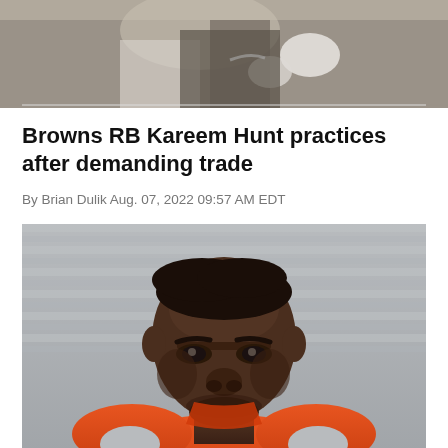[Figure (photo): Cropped top photo showing hands and partial figure of a football player, likely during practice]
Browns RB Kareem Hunt practices after demanding trade
By Brian Dulik Aug. 07, 2022 09:57 AM EDT
[Figure (photo): Close-up photo of a young Black man wearing an orange Cleveland Browns sleeveless jersey, looking at the camera with a serious expression, standing in front of a grey corrugated metal background]